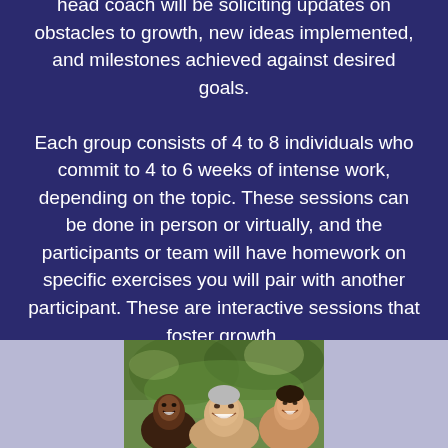head coach will be soliciting updates on obstacles to growth, new ideas implemented, and milestones achieved against desired goals.

Each group consists of 4 to 8 individuals who commit to 4 to 6 weeks of intense work, depending on the topic. These sessions can be done in person or virtually, and the participants or team will have homework on specific exercises you will pair with another participant. These are interactive sessions that foster growth.
[Figure (photo): Group of people smiling and talking outdoors, with greenery in the background, shown from shoulders up.]